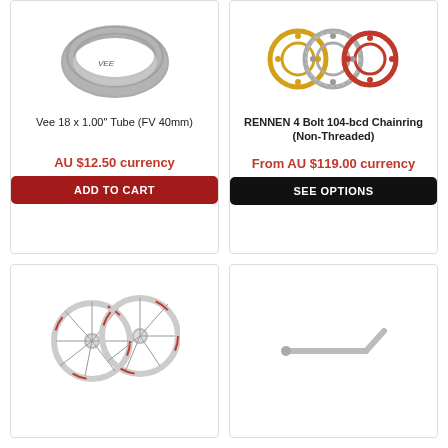[Figure (photo): Bicycle inner tube coiled, grey/black]
Vee 18 x 1.00" Tube (FV 40mm)
AU $12.50 currency
ADD TO CART
[Figure (photo): Three chainrings: gold, silver, red - RENNEN 4 Bolt 104-bcd]
RENNEN 4 Bolt 104-bcd Chainring (Non-Threaded)
From AU $119.00 currency
SEE OPTIONS
[Figure (photo): White bicycle wheel set with red accents]
[Figure (photo): Silver bicycle spoke or axle tool]